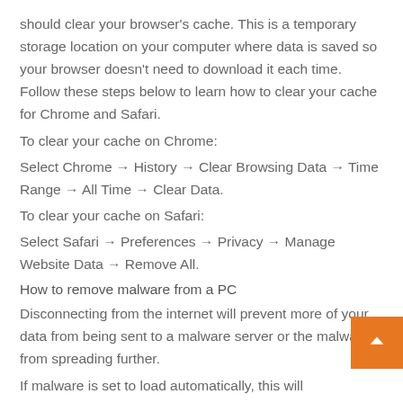should clear your browser's cache. This is a temporary storage location on your computer where data is saved so your browser doesn't need to download it each time. Follow these steps below to learn how to clear your cache for Chrome and Safari.
To clear your cache on Chrome:
Select Chrome → History → Clear Browsing Data → Time Range → All Time → Clear Data.
To clear your cache on Safari:
Select Safari → Preferences → Privacy → Manage Website Data → Remove All.
How to remove malware from a PC
Disconnecting from the internet will prevent more of your data from being sent to a malware server or the malware from spreading further.
If malware is set to load automatically, this will